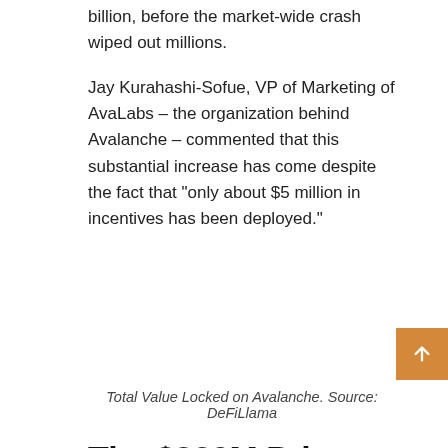billion, before the market-wide crash wiped out millions.
Jay Kurahashi-Sofue, VP of Marketing of AvaLabs – the organization behind Avalanche – commented that this substantial increase has come despite the fact that “only about $5 million in incentives has been deployed.”
Total Value Locked on Avalanche. Source: DeFiLlama
The $230M Private Sale
CryptoPotato also reported another crucial